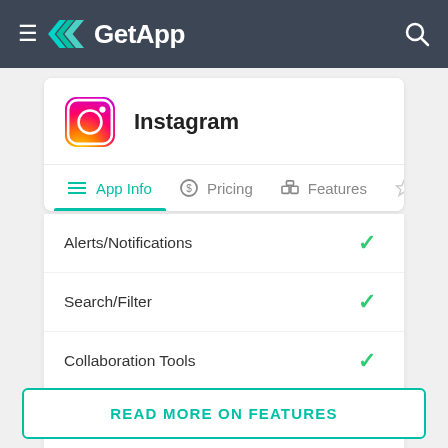GetApp
Instagram
App Info | Pricing | Features | Re...
Alerts/Notifications ✓
Search/Filter ✓
Collaboration Tools ✓
Campaign Management ✓
Content Import/Export ✓
READ MORE ON FEATURES